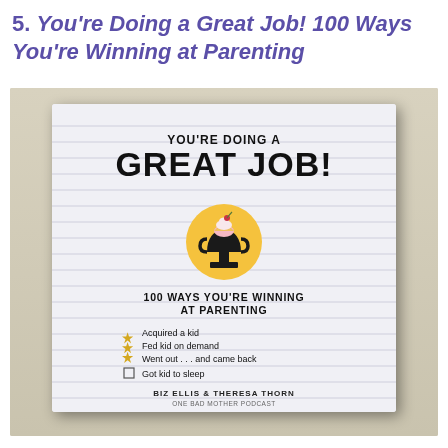5. You're Doing a Great Job! 100 Ways You're Winning at Parenting
[Figure (photo): Photograph of a book cover titled 'You're Doing a Great Job! 100 Ways You're Winning at Parenting' by Biz Ellis and Theresa Thorn (One Bad Mother). The cover features horizontal lines as background, a trophy with an ice cream cone on top set in a yellow/gold circle. A checklist shows: Acquired a kid, Fed kid on demand, Went out... and came back, [ ] Got kid to sleep.]